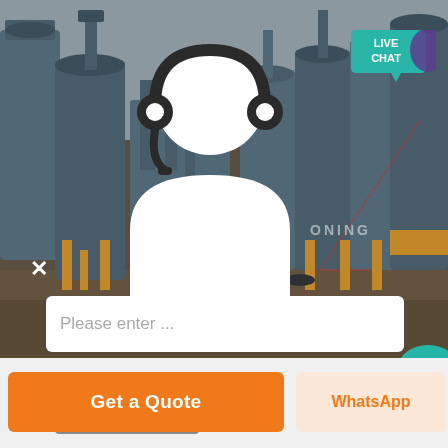[Figure (photo): Industrial cement/concrete batching plant with multiple large cylindrical silos and processing equipment, overcast sky, construction site ground. A white customer support agent icon (person with headset) is overlaid in the center-left. A teal 'LIVE CHAT' speech bubble is in the upper right. An 'X' close button is in the lower left of the image. A text input bar reads 'Please enter ...' at the bottom of the image area.]
Please enter ...
Get a Quote
Send
WhatsApp